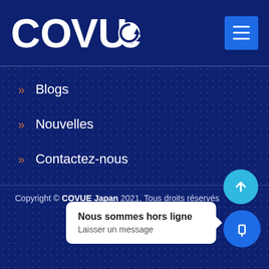[Figure (logo): COVUE logo in white text with circular arrow icon on dark navy background]
» Blogs
» Nouvelles
» Contactez-nous
Copyright © COVUE Japan 2021, Tous droits réservés
Nous sommes hors ligne
Laisser un message